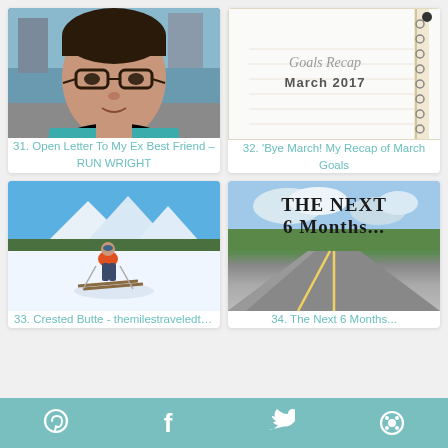[Figure (photo): Selfie photo of a woman wearing glasses and a teal top, outdoors on a city street]
31. Open Letter To My Ex Best Friend – RUN WRIGHT
[Figure (photo): White notepad page with text 'Goals Recap' in italic script and 'March 2017' in bold uppercase]
32. 'Bye March! My Recap of March Goals
[Figure (photo): Person in red jacket skiing on a snowy mountain slope with blue sky and mountains in background]
33. Crested Butte - themilestraveledthemilest
[Figure (photo): Long straight road stretching into distance with text overlay 'THE NEXT 6 MONTHS...' and blue sky with trees]
34. The Next 6 Months...
Pinterest | Facebook | Twitter | Other social icon